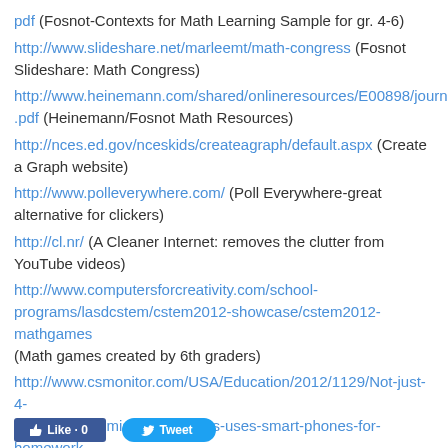pdf (Fosnot-Contexts for Math Learning Sample for gr. 4-6)
http://www.slideshare.net/marleemt/math-congress (Fosnot Slideshare: Math Congress)
http://www.heinemann.com/shared/onlineresources/E00898/journey1.pdf (Heinemann/Fosnot Math Resources)
http://nces.ed.gov/nceskids/createagraph/default.aspx (Create a Graph website)
http://www.polleverywhere.com/ (Poll Everywhere-great alternative for clickers)
http://cl.nr/ (A Cleaner Internet: removes the clutter from YouTube videos)
http://www.computersforcreativity.com/school-programs/lasdcstem/cstem2012-showcase/cstem2012-mathgames (Math games created by 6th graders)
http://www.csmonitor.com/USA/Education/2012/1129/Not-just-4-texting-1-in-3-middle-schoolers-uses-smart-phones-for-homework (Not Just 4 Texting: 1 in 3 Middle Schoolers use Smartphones for Homework)